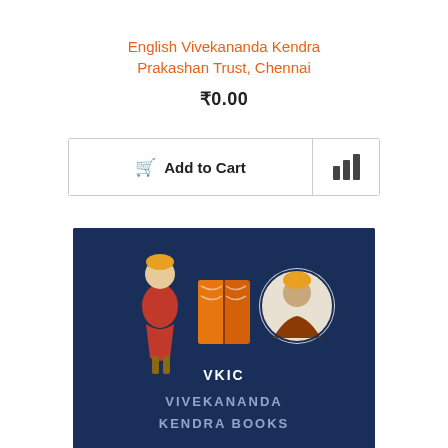English Vivekananda Kendra Prakashan Trust, Chennai
₹0.00
[Figure (screenshot): Add to Cart button with shopping cart icon and a compare button with bar chart icon]
[Figure (illustration): Dark blue promotional image for VKIC Vivekananda Kendra Books featuring illustrations of Swami Vivekananda standing and a circular portrait, with an open book icon in orange in the center. Text reads VKIC and VIVEKANANDA KENDRA BOOKS.]
Kamrupia Dhulias – Their Lives and Legacies